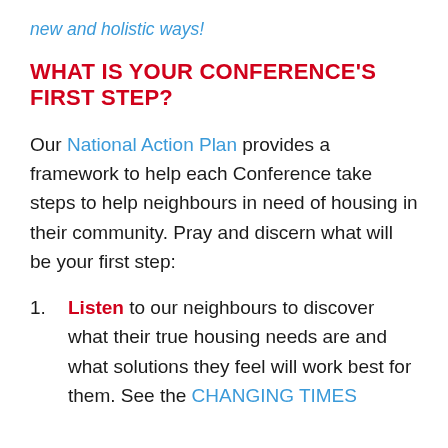new and holistic ways!
WHAT IS YOUR CONFERENCE'S FIRST STEP?
Our National Action Plan provides a framework to help each Conference take steps to help neighbours in need of housing in their community. Pray and discern what will be your first step:
Listen to our neighbours to discover what their true housing needs are and what solutions they feel will work best for them. See the CHANGING TIMES